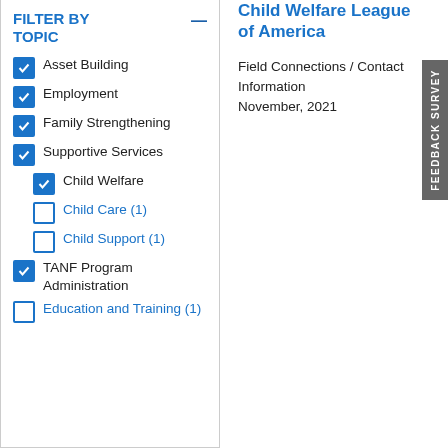Child Welfare League of America
Field Connections / Contact Information
November, 2021
FILTER BY TOPIC
Asset Building (checked)
Employment (checked)
Family Strengthening (checked)
Supportive Services (checked)
Child Welfare (checked, sub)
Child Care (1) (unchecked, sub)
Child Support (1) (unchecked, sub)
TANF Program Administration (checked)
Education and Training (1) (unchecked)